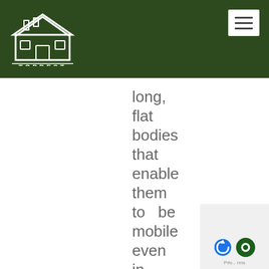TOPBEST
long, flat bodies that enable them to be mobile even in small spaces. Instead